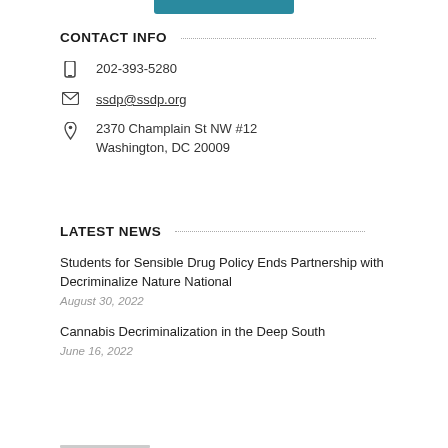CONTACT INFO
202-393-5280
ssdp@ssdp.org
2370 Champlain St NW #12
Washington, DC 20009
LATEST NEWS
Students for Sensible Drug Policy Ends Partnership with Decriminalize Nature National
August 30, 2022
Cannabis Decriminalization in the Deep South
June 16, 2022